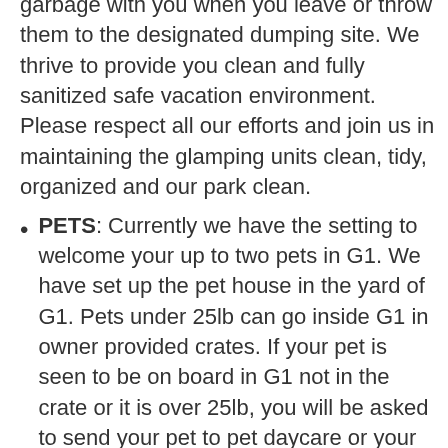outside of the park gate. Please take your garbage with you when you leave or throw them to the designated dumping site. We thrive to provide you clean and fully sanitized safe vacation environment. Please respect all our efforts and join us in maintaining the glamping units clean, tidy, organized and our park clean.
PETS: Currently we have the setting to welcome your up to two pets in G1. We have set up the pet house in the yard of G1. Pets under 25lb can go inside G1 in owner provided crates. If your pet is seen to be on board in G1 not in the crate or it is over 25lb, you will be asked to send your pet to pet daycare or your party vacate from the unit right away without any refund. There is an additional charge